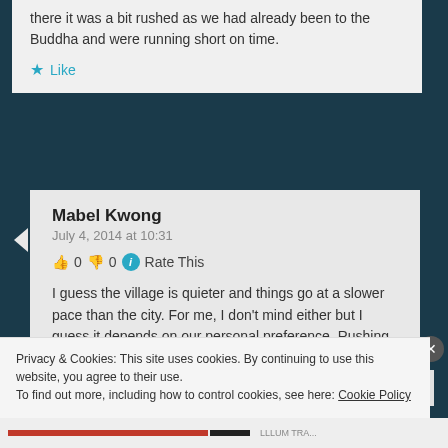there it was a bit rushed as we had already been to the Buddha and were running short on time.
★ Like
Mabel Kwong
July 4, 2014 at 10:31
👍 0 👎 0 ℹ Rate This
I guess the village is quieter and things go at a slower pace than the city. For me, I don't mind either but I guess it depends on our personal preference. Rushing on a trip is never really good as you might miss out on seeing what's
Privacy & Cookies: This site uses cookies. By continuing to use this website, you agree to their use.
To find out more, including how to control cookies, see here: Cookie Policy
Close and accept